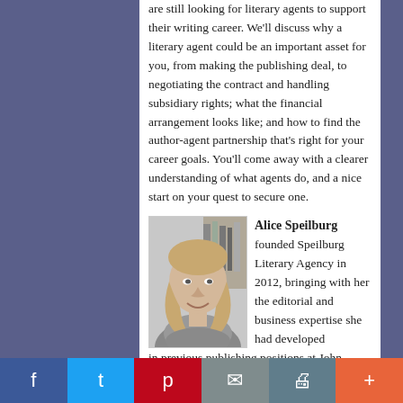are still looking for literary agents to support their writing career. We'll discuss why a literary agent could be an important asset for you, from making the publishing deal, to negotiating the contract and handling subsidiary rights; what the financial arrangement looks like; and how to find the author-agent partnership that's right for your career goals. You'll come away with a clearer understanding of what agents do, and a nice start on your quest to secure one.
[Figure (photo): Black and white portrait photo of Alice Speilburg, a woman with shoulder-length hair, smiling, with bookshelves in the background.]
Alice Speilburg founded Speilburg Literary Agency in 2012, bringing with her the editorial and business expertise she had developed in previous publishing positions at John Wiley &
Facebook | Twitter | Pinterest | Email | Print | More